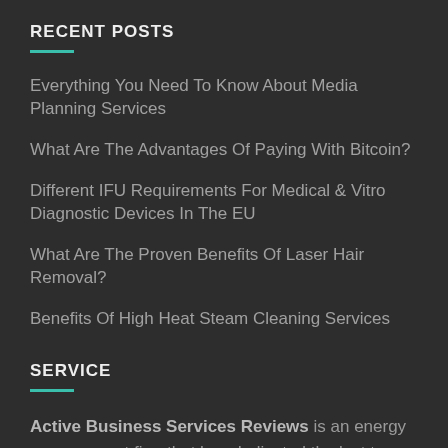RECENT POSTS
Everything You Need To Know About Media Planning Services
What Are The Advantages Of Paying With Bitcoin?
Different IFU Requirements For Medical & Vitro Diagnostic Devices In The EU
What Are The Proven Benefits Of Laser Hair Removal?
Benefits Of High Heat Steam Cleaning Services
SERVICE
Active Business Services Reviews is an energy management firm that has dedicated the last ten years to providing Canadian commercial and industrial customers with natural gas and electricity supply and risk management solutions.